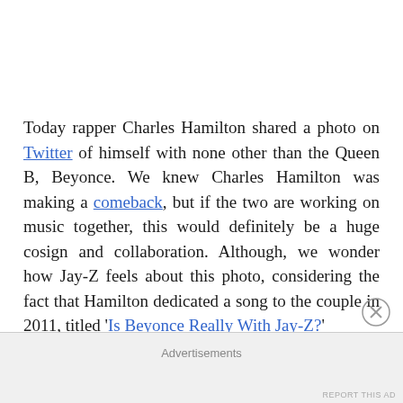Today rapper Charles Hamilton shared a photo on Twitter of himself with none other than the Queen B, Beyonce. We knew Charles Hamilton was making a comeback, but if the two are working on music together, this would definitely be a huge cosign and collaboration. Although, we wonder how Jay-Z feels about this photo, considering the fact that Hamilton dedicated a song to the couple in 2011, titled 'Is Beyonce Really With Jay-Z?'
Advertisements